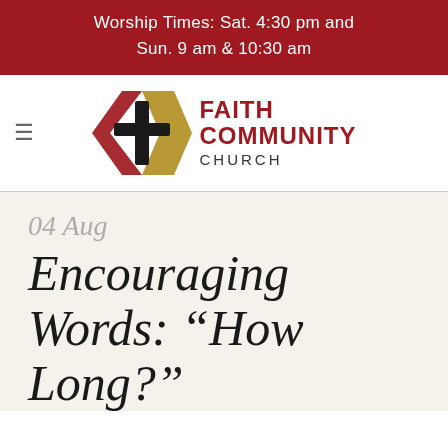Worship Times: Sat. 4:30 pm and Sun. 9 am & 10:30 am
[Figure (logo): Faith Community Church logo: a diamond/chevron shape in red and gold with a black cross inside, next to the text FAITH COMMUNITY CHURCH in red and dark gray.]
04 Aug
Encouraging Words: “How Long?”